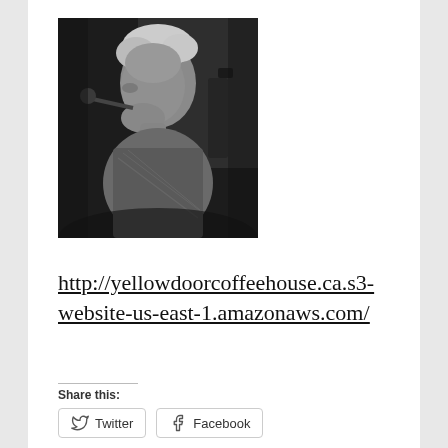[Figure (photo): Black and white photograph of an elderly man in profile view, facing left, with white hair, in front of a brick wall with equipment visible in the background.]
http://yellowdoorcoffeehouse.ca.s3-website-us-east-1.amazonaws.com/
Share this:
Twitter
Facebook